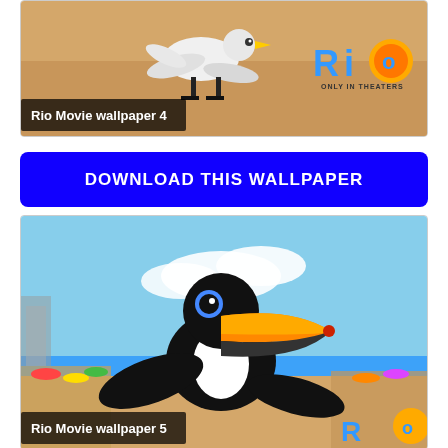[Figure (illustration): Rio Movie wallpaper 4 - animated white bird on sandy beach background with Rio movie logo and 'ONLY IN THEATERS' text]
Rio Movie wallpaper 4
DOWNLOAD THIS WALLPAPER
[Figure (illustration): Rio Movie wallpaper 5 - animated toucan bird with colorful orange beak on beach background with Rio movie logo]
Rio Movie wallpaper 5